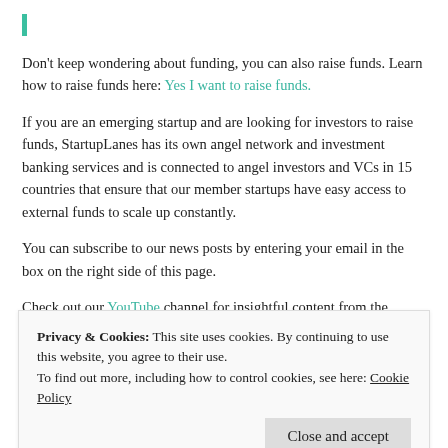Don't keep wondering about funding, you can also raise funds. Learn how to raise funds here: Yes I want to raise funds.
If you are an emerging startup and are looking for investors to raise funds, StartupLanes has its own angel network and investment banking services and is connected to angel investors and VCs in 15 countries that ensure that our member startups have easy access to external funds to scale up constantly.
You can subscribe to our news posts by entering your email in the box on the right side of this page.
Check out our YouTube channel for insightful content from the
Privacy & Cookies: This site uses cookies. By continuing to use this website, you agree to their use.
To find out more, including how to control cookies, see here: Cookie Policy
wealth. Do you wish to become an angel investor? Yes, I want to be